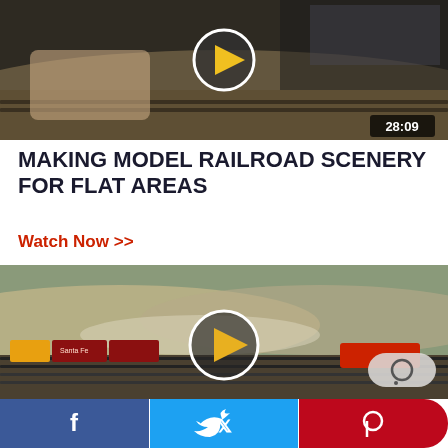[Figure (screenshot): Video thumbnail showing a hand drawing on a model railroad layout with a play button overlay and duration badge 28:09]
MAKING MODEL RAILROAD SCENERY FOR FLAT AREAS
Watch Now >>
[Figure (screenshot): Video thumbnail showing model railroad trains on tracks with a scenic backdrop, play button overlay and comment button]
[Figure (infographic): Social share bar with Facebook, Twitter, and Pinterest buttons]